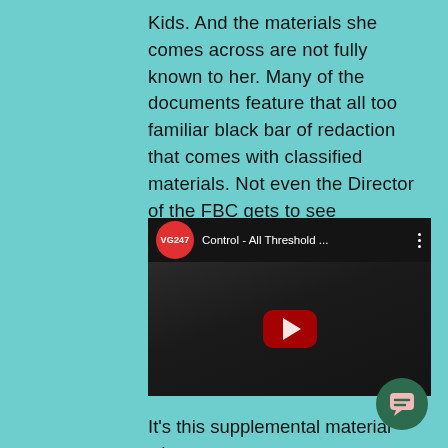Kids. And the materials she comes across are not fully known to her. Many of the documents feature that all too familiar black bar of redaction that comes with classified materials. Not even the Director of the FBC gets to see everything!
[Figure (screenshot): YouTube video embed showing VG247 channel thumbnail for 'Control - All Threshold ...' with a dark game background and a red play button in the center.]
It's this supplemental material where